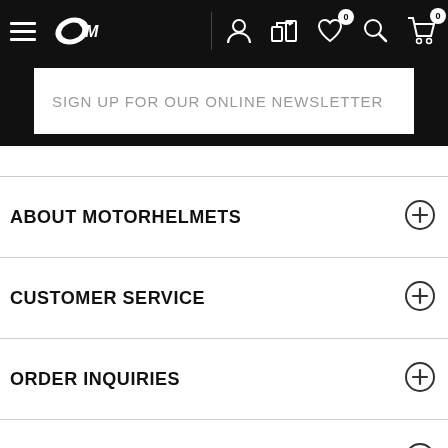[Figure (screenshot): Website navigation bar with hamburger menu, leaf logo (OM), user icon, compare icon, wishlist icon with badge 0, search icon, and cart icon with badge 0]
SIGN UP FOR OUR ONLINE NEWSLETTER
ABOUT MOTORHELMETS
CUSTOMER SERVICE
ORDER INQUIRIES
MOTO RESOURCES
FOLLOW US